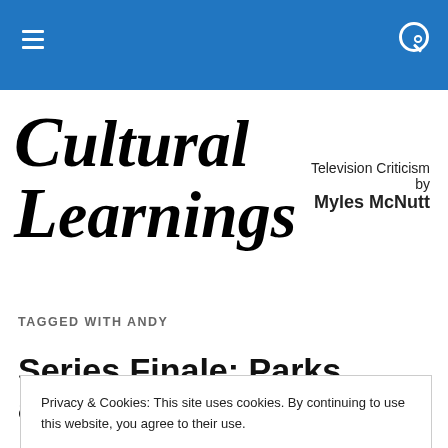Cultural Learnings — navigation bar with menu and search
[Figure (logo): Cultural Learnings cursive logo with Television Criticism by Myles McNutt tagline]
TAGGED WITH ANDY
Series Finale: Parks and
Privacy & Cookies: This site uses cookies. By continuing to use this website, you agree to their use.
To find out more, including how to control cookies, see here: Cookie Policy
Close and accept